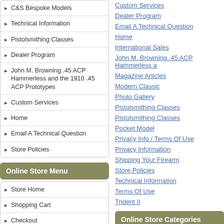C&S Bespoke Models
Technical Information
Pistolsmithing Classes
Dealer Program
John M. Browning .45 ACP Hammerless and the 1910 .45 ACP Prototypes
Custom Services
Home
Email A Technical Question
Store Policies
Online Store Menu
Store Home
Shopping Cart
Checkout
Advanced Search
Specials
Best Sellers
Custom Services
Dealer Program
Email A Technical Question
Home
International Sales
John M. Browning .45 ACP Hammerless a
Magazine Articles
Modern Classic
Photo Gallery
Pistolsmithing Classes
Pistolsmithing Classes
Pocket Model
Privacy Info / Terms Of Use
Privacy Information
Shipping Your Firearm
Store Policies
Technical Information
Terms Of Use
Trident II
Online Store Categories